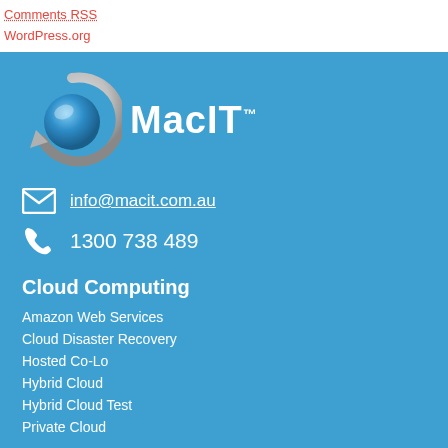Comments RSS
WordPress.org
[Figure (logo): MacIT logo with blue sphere and stylized circular arrow, white text MacIT with TM superscript]
info@macit.com.au
1300 738 489
Cloud Computing
Amazon Web Services
Cloud Disaster Recovery
Hosted Co-Lo
Hybrid Cloud
Hybrid Cloud Test
Private Cloud